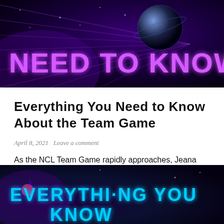[Figure (illustration): Dark purple/black sci-fi banner with neon purple text reading 'NEED TO KNOW', star field background, planet on right, geometric shapes, radiating lines]
Everything You Need to Know About the Team Game
April 8, 2021   Leave a comment
As the NCL Team Game rapidly approaches, Jeana Byte is here to give you the rundown on everything you need to know about the Team Game.
[Figure (illustration): Dark sci-fi banner with neon cyan/blue text reading 'EVERYTHING YOU KNOW', dark purple background with star field and geometric shapes]